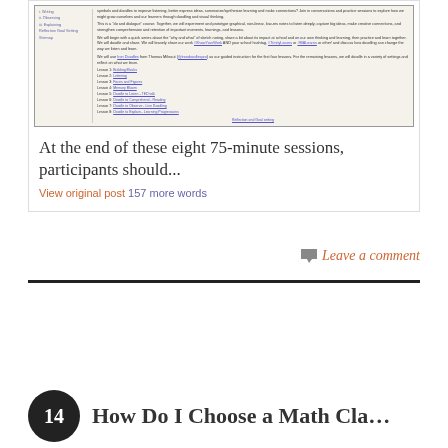[Figure (screenshot): Screenshot of a course description webpage showing a sidebar with lesson navigation and main content describing a sketch-noting course with 8 lessons listed.]
At the end of these eight 75-minute sessions, participants should...
View original post 157 more words
Leave a comment
14 How Do I Choose a Math Cla...